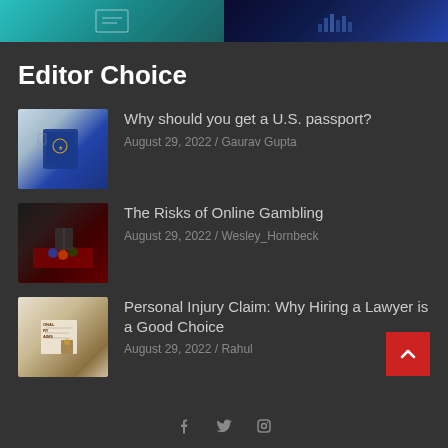[Figure (illustration): Two thumbnail images side by side at the top — left shows a teal/turquoise graphic with a document icon, right shows a dark blue cityscape at night]
Editor Choice
[Figure (photo): Thumbnail of a U.S. passport on a map]
Why should you get a U.S. passport?
August 29, 2022 / Gaurav Gupta
[Figure (photo): Thumbnail of a person at a gambling table with casino chips]
The Risks of Online Gambling
August 29, 2022 / Wesley_Hornbeck
[Figure (photo): Thumbnail of a legal document with a gavel and text saying PERSONAL INJURY CLAIMS]
Personal Injury Claim: Why Hiring a Lawyer is a Good Choice
August 29, 2022 / Rahul
Social media icons: Facebook, Twitter, LinkedIn, Instagram